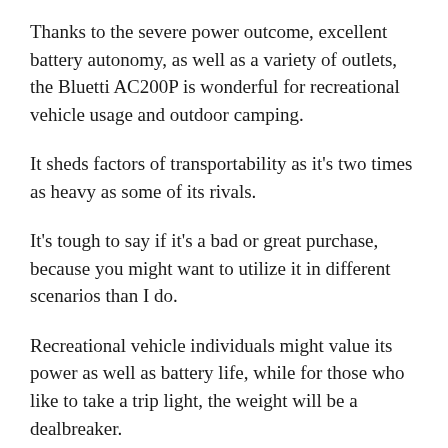Thanks to the severe power outcome, excellent battery autonomy, as well as a variety of outlets, the Bluetti AC200P is wonderful for recreational vehicle usage and outdoor camping.
It sheds factors of transportability as it's two times as heavy as some of its rivals.
It's tough to say if it's a bad or great purchase, because you might want to utilize it in different scenarios than I do.
Recreational vehicle individuals might value its power as well as battery life, while for those who like to take a trip light, the weight will be a dealbreaker.
See The Best Deals At Bluetti Tech...